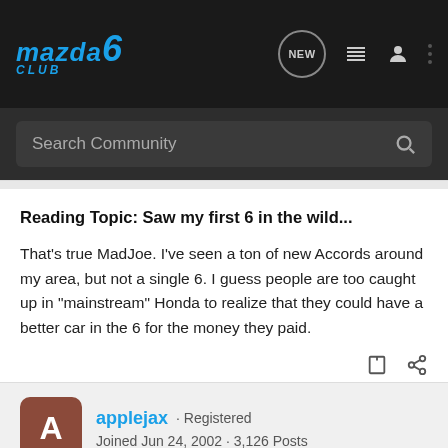Mazda 6 Club · NEW · navigation icons
Search Community
Reading Topic: Saw my first 6 in the wild...
That's true MadJoe. I've seen a ton of new Accords around my area, but not a single 6. I guess people are too caught up in "mainstream" Honda to realize that they could have a better car in the 6 for the money they paid.
applejax · Registered
Joined Jun 24, 2002 · 3,126 Posts
#4 · Feb 26, 2003